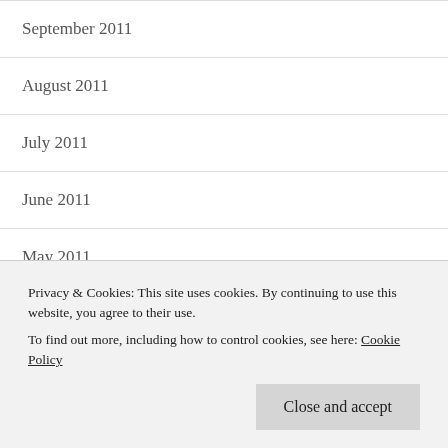September 2011
August 2011
July 2011
June 2011
May 2011
April 2011
March 2011
Privacy & Cookies: This site uses cookies. By continuing to use this website, you agree to their use. To find out more, including how to control cookies, see here: Cookie Policy
Close and accept
December 2010